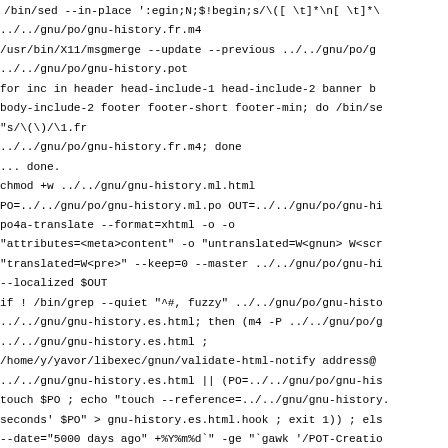/bin/sed --in-place ':egin;N;$!begin;s/\([ \t]*\n[ \t]*\
../../gnu/po/gnu-history.fr.m4
/usr/bin/X11/msgmerge --update --previous ../../gnu/po/g
../../gnu/po/gnu-history.pot
for inc in header head-include-1 head-include-2 banner b
body-include-2 footer footer-short footer-min; do /bin/s
"s/\(<!--#include virtual=\".*$inc\)\(.html\" -->\)/\1.f
../../gnu/po/gnu-history.fr.m4; done
... done.
chmod +w ../../gnu/gnu-history.ml.html
PO=../../gnu/po/gnu-history.ml.po OUT=../../gnu/po/gnu-h
po4a-translate --format=xhtml -o ontagerror=silent -o
"attributes=<meta>content" -o "untranslated=W<gnun> W<sc
"translated=W<pre>" --keep=0 --master ../../gnu/po/gnu-h
--localized $OUT
if ! /bin/grep --quiet "^#, fuzzy" ../../gnu/po/gnu-hist
../../gnu/gnu-history.es.html; then (m4 -P ../../gnu/po/
../../gnu/gnu-history.es.html ;
/home/y/yavor/libexec/gnun/validate-html-notify address
../../gnu/gnu-history.es.html || (PO=../../gnu/po/gnu-hi
touch $PO ; echo "touch --reference=../../gnu/gnu-history
seconds' $PO" > gnu-history.es.html.hook ; exit 1)) ; el
--date="5000 days ago" +%Y%m%d`" -ge "`gawk '/POT-Creati
""); print $2 }' ../../gnu/po/gnu-history.es.po`" ] ; th
../../gnu/po/gnu-history.es.m4 > ../../gnu/gnu-history.e
/home/y/yavor/libexec/gnun/validate-html-notify address
../../gnu/gnu-history.es.html || (PO=../../gnu/po/gnu-hi
touch $PO ; echo "touch --reference=../../gnu/gnu-history
seconds' $PO" > gnu-history.es.html.hook ; exit 1) ; els
../../gnu/po/gnu-history.es.po ; fi ; fi